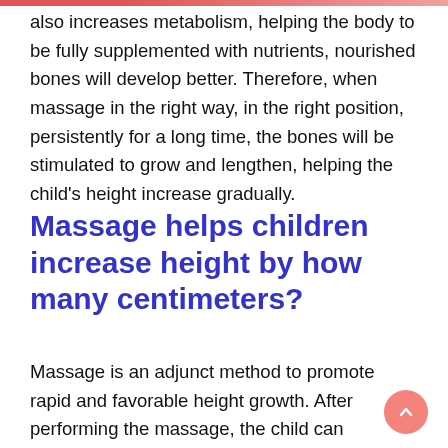also increases metabolism, helping the body to be fully supplemented with nutrients, nourished bones will develop better. Therefore, when massage in the right way, in the right position, persistently for a long time, the bones will be stimulated to grow and lengthen, helping the child's height increase gradually.
Massage helps children increase height by how many centimeters?
Massage is an adjunct method to promote rapid and favorable height growth. After performing the massage, the child can increase how many centimeters more depends on the child's location, bone health, and the